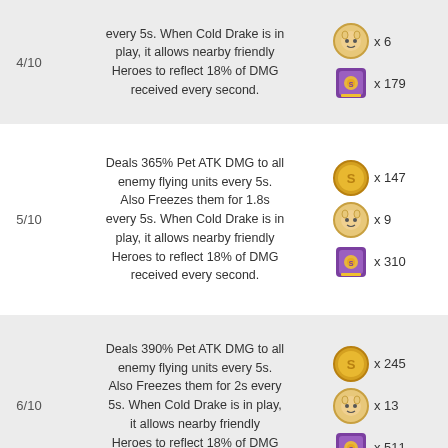4/10 — every 5s. When Cold Drake is in play, it allows nearby friendly Heroes to reflect 18% of DMG received every second. Cost: pet icon x6, book icon x179
5/10 — Deals 365% Pet ATK DMG to all enemy flying units every 5s. Also Freezes them for 1.8s every 5s. When Cold Drake is in play, it allows nearby friendly Heroes to reflect 18% of DMG received every second. Cost: coin x147, pet icon x9, book x310
6/10 — Deals 390% Pet ATK DMG to all enemy flying units every 5s. Also Freezes them for 2s every 5s. When Cold Drake is in play, it allows nearby friendly Heroes to reflect 18% of DMG received every second. Cost: coin x245, pet icon x13, book x511